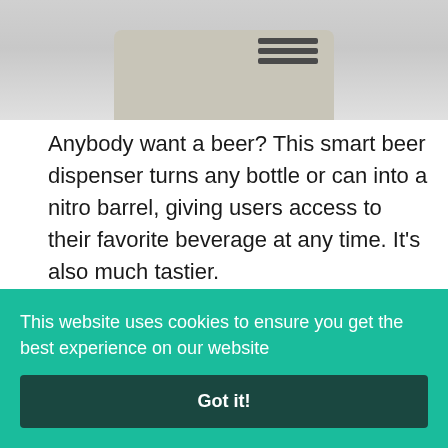[Figure (photo): Partial view of a smart beer dispenser device, silver/beige colored with dark vents on top, shown against a light background]
Anybody want a beer? This smart beer dispenser turns any bottle or can into a nitro barrel, giving users access to their favorite beverage at any time. It's also much tastier.
Nurv Commissioning
This website uses cookies to ensure you get the best experience on our website
Got it!